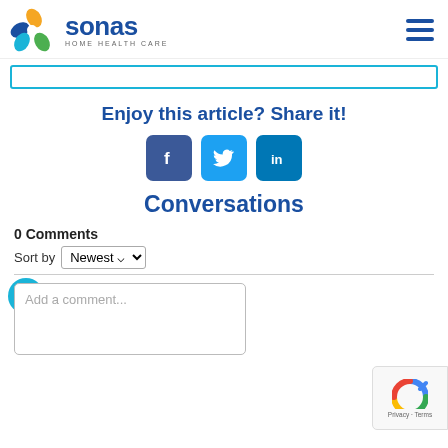Sonas Home Health Care
Enjoy this article? Share it!
[Figure (other): Social share buttons: Facebook (f), Twitter (bird), LinkedIn (in)]
Conversations
0 Comments
Sort by Newest
Add a comment...